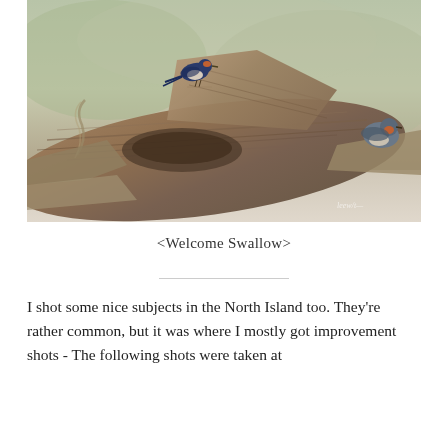[Figure (photo): Two Welcome Swallow birds perched on a large weathered driftwood log. One bird is on the upper left portion of the log, the other is on the right side. Background is blurred green and neutral tones. A faint watermark signature appears in the lower right.]
<Welcome Swallow>
I shot some nice subjects in the North Island too. They're rather common, but it was where I mostly got improvement shots - The following shots were taken at